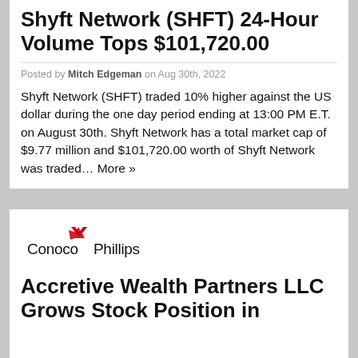Shyft Network (SHFT) 24-Hour Volume Tops $101,720.00
Posted by Mitch Edgeman on Aug 30th, 2022
Shyft Network (SHFT) traded 10% higher against the US dollar during the one day period ending at 13:00 PM E.T. on August 30th. Shyft Network has a total market cap of $9.77 million and $101,720.00 worth of Shyft Network was traded… More »
[Figure (logo): ConocoPhillips company logo with red checkmark above text]
Accretive Wealth Partners LLC Grows Stock Position in